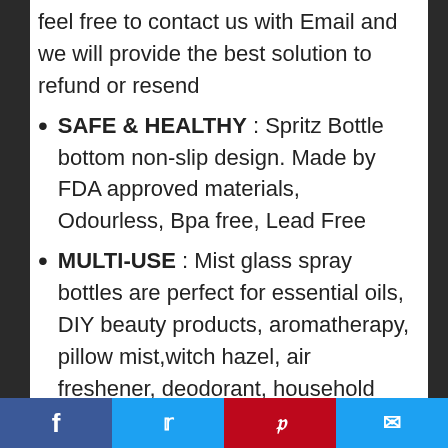feel free to contact us with Email and we will provide the best solution to refund or resend
SAFE & HEALTHY : Spritz Bottle bottom non-slip design. Made by FDA approved materials, Odourless, Bpa free, Lead Free
MULTI-USE : Mist glass spray bottles are perfect for essential oils, DIY beauty products, aromatherapy, pillow mist,witch hazel, air freshener, deodorant, household cleaner, face spray and any other mixtures. Empty spray bottle can be washed and reused
Facebook | Twitter | Pinterest | Email